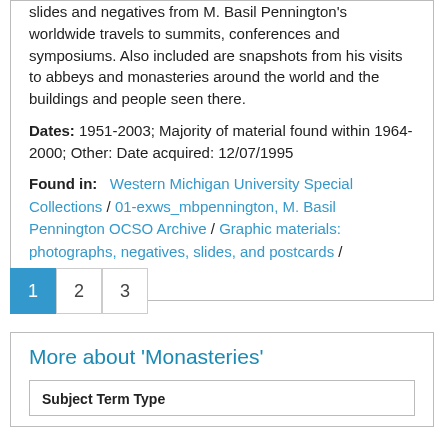slides and negatives from M. Basil Pennington's worldwide travels to summits, conferences and symposiums. Also included are snapshots from his visits to abbeys and monasteries around the world and the buildings and people seen there.
Dates: 1951-2003; Majority of material found within 1964-2000; Other: Date acquired: 12/07/1995
Found in: Western Michigan University Special Collections / 01-exws_mbpennington, M. Basil Pennington OCSO Archive / Graphic materials: photographs, negatives, slides, and postcards / Monasteries, A-Z
1 2 3
More about 'Monasteries'
| Subject Term Type |
| --- |